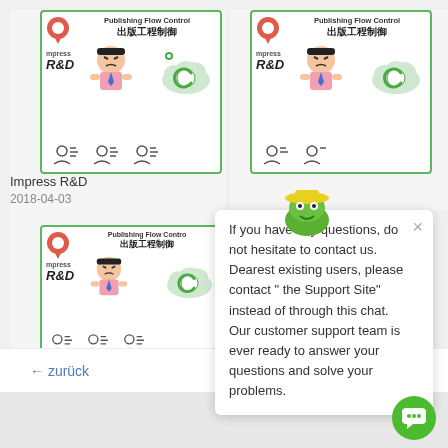[Figure (screenshot): Book listing card top-left: Impress R&D Publishing Flow Control 出版工程制御 cover thumbnail with location pin, three user icons below]
Impress R&D
2018-04-03
[Figure (screenshot): Book listing card top-right: Impress R&D Publishing Flow Control 出版工程制御 cover thumbnail with location pin]
[Figure (screenshot): Book listing card bottom-left: Impress R&D Publishing Flow Control 出版工程制御 cover thumbnail with location pin, three user icons below]
Impress R&D
2018-04-03
[Figure (illustration): Green frog mascot with yellow hat appearing at top of chat popup]
If you have any questions, do not hesitate to contact us. Dearest existing users, please contact " the Support Site" instead of through this chat.
Our customer support team is ever ready to answer your questions and solve your problems.
← zurück
weiter →